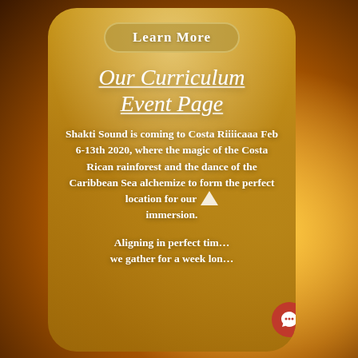[Figure (illustration): Golden/amber floral background with radial warm glow, blurred flower petals in orange and yellow tones]
Learn More
Our Curriculum
Event Page
Shakti Sound is coming to Costa Riiiicaaa Feb 6-13th 2020, where the magic of the Costa Rican rainforest and the dance of the Caribbean Sea alchemize to form the perfect location for our immersion.
Aligning in perfect tim... we gather for a week lon...